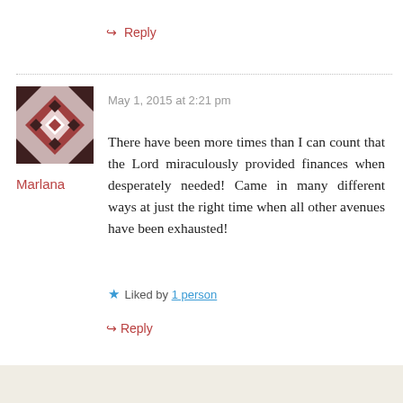↪ Reply
[Figure (illustration): Avatar image: a geometric quilt-like pattern in dark red/mauve tones with diamond shapes on a white background, square shaped]
Marlana
May 1, 2015 at 2:21 pm
There have been more times than I can count that the Lord miraculously provided finances when desperately needed! Came in many different ways at just the right time when all other avenues have been exhausted!
★ Liked by 1 person
↪ Reply